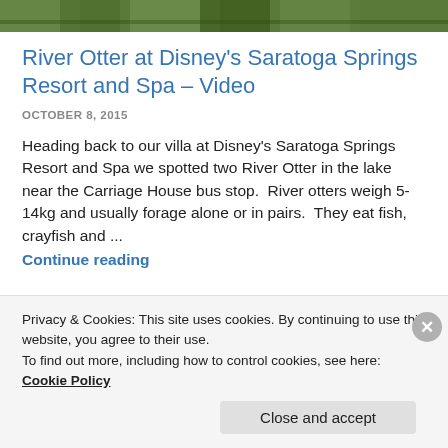[Figure (photo): Partial view of grassy outdoor area, green vegetation]
River Otter at Disney's Saratoga Springs Resort and Spa – Video
OCTOBER 8, 2015
Heading back to our villa at Disney's Saratoga Springs Resort and Spa we spotted two River Otter in the lake near the Carriage House bus stop.  River otters weigh 5-14kg and usually forage alone or in pairs.  They eat fish, crayfish and ...
Continue reading
Privacy & Cookies: This site uses cookies. By continuing to use this website, you agree to their use.
To find out more, including how to control cookies, see here: Cookie Policy
Close and accept